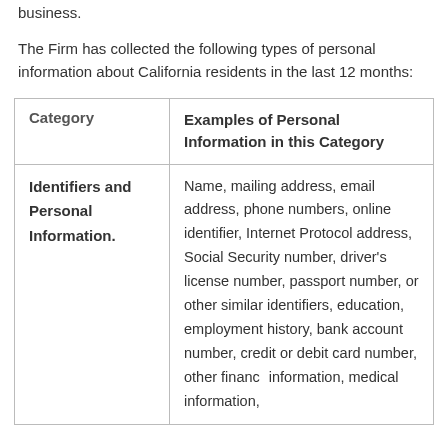business.
The Firm has collected the following types of personal information about California residents in the last 12 months:
| Category | Examples of Personal Information in this Category |
| --- | --- |
| Identifiers and Personal Information. | Name, mailing address, email address, phone numbers, online identifier, Internet Protocol address, Social Security number, driver's license number, passport number, or other similar identifiers, education, employment history, bank account number, credit or debit card number, other financial information, medical information, |